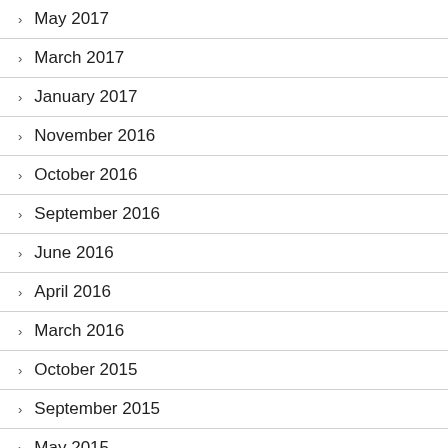May 2017
March 2017
January 2017
November 2016
October 2016
September 2016
June 2016
April 2016
March 2016
October 2015
September 2015
May 2015
April 2015